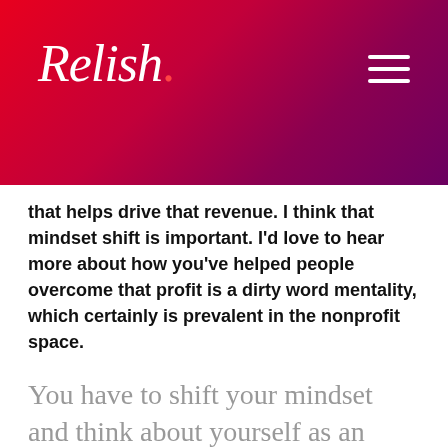[Figure (logo): Relish logo in white script text on red-to-dark-pink gradient header, with hamburger menu icon on the right]
that helps drive that revenue. I think that mindset shift is important. I'd love to hear more about how you've helped people overcome that profit is a dirty word mentality, which certainly is prevalent in the nonprofit space.
You have to shift your mindset and think about yourself as an entrepreneur.
It is prevalent in the nonprofit space and it's interesting. When I work with leaders, part of the coaching that I have to do is mindset coaching. The first couple of sessions were